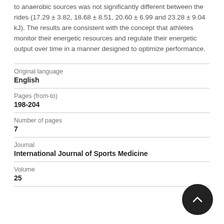to anaerobic sources was not significantly different between the rides (17.29 ± 3.82, 18.68 ± 8.51, 20.60 ± 6.99 and 23.28 ± 9.04 kJ). The results are consistent with the concept that athletes monitor their energetic resources and regulate their energetic output over time in a manner designed to optimize performance.
| Field | Value |
| --- | --- |
| Original language | English |
| Pages (from-to) | 198-204 |
| Number of pages | 7 |
| Journal | International Journal of Sports Medicine |
| Volume | 25 |